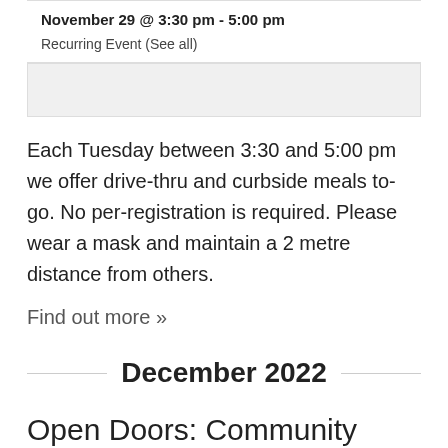November 29 @ 3:30 pm - 5:00 pm
Recurring Event (See all)
Each Tuesday between 3:30 and 5:00 pm we offer drive-thru and curbside meals to-go. No per-registration is required. Please wear a mask and maintain a 2 metre distance from others.
Find out more »
December 2022
Open Doors: Community Meal